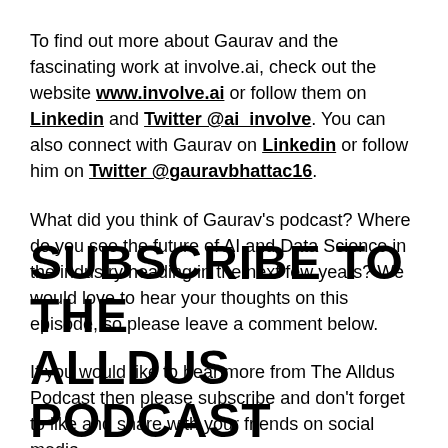To find out more about Gaurav and the fascinating work at involve.ai, check out the website www.involve.ai or follow them on Linkedin and Twitter @ai_involve. You can also connect with Gaurav on Linkedin or follow him on Twitter @gauravbhattac16.
What did you think of Gaurav's podcast? Where do you see the future of AI and Data Science in the industry heading in the next few years? We would love to hear your thoughts on this episode, so please leave a comment below.
If you would like to hear more from The Alldus Podcast then please subscribe and don't forget to like and share with your friends on social media.
SUBSCRIBE TO THE ALLDUS PODCAST